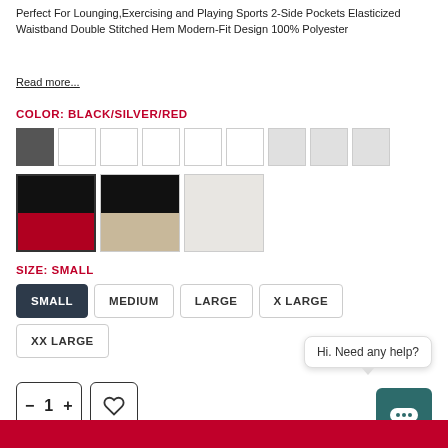Perfect For Lounging,Exercising and Playing Sports 2-Side Pockets Elasticized Waistband Double Stitched Hem Modern-Fit Design 100% Polyester
Read more...
COLOR: BLACK/SILVER/RED
[Figure (other): Color swatch selector with 12 color options in two rows. Row 1: dark gray (selected), white, white, white, white, white, light gray, light gray, light gray. Row 2: black/red split, black/beige split, light gray solid.]
SIZE: SMALL
[Figure (other): Size selector buttons: SMALL (selected, dark), MEDIUM, LARGE, X LARGE, XX LARGE]
[Figure (other): Quantity selector with minus, 1, plus buttons; heart/wishlist button; chat help bubble saying Hi. Need any help?; teal chat icon button]
[Figure (other): Red Add to Cart bar at bottom]